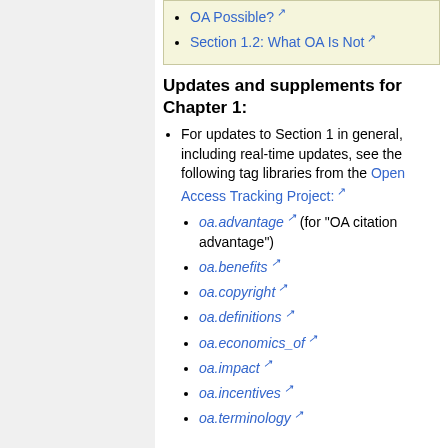Section 1.2: What OA Is Not
Updates and supplements for Chapter 1:
For updates to Section 1 in general, including real-time updates, see the following tag libraries from the Open Access Tracking Project:
oa.advantage (for "OA citation advantage")
oa.benefits
oa.copyright
oa.definitions
oa.economics_of
oa.impact
oa.incentives
oa.terminology